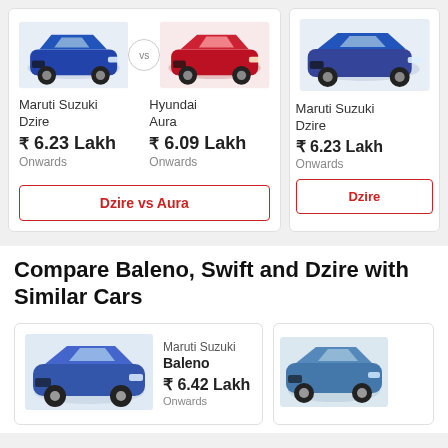[Figure (illustration): Comparison card showing Maruti Suzuki Dzire (blue) vs Hyundai Aura (red) with VS circle in middle]
Maruti Suzuki Dzire
₹ 6.23 Lakh
Onwards
Hyundai Aura
₹ 6.09 Lakh
Onwards
Dzire vs Aura
[Figure (illustration): Partial card showing Maruti Suzuki Dzire (blue) on the right side]
Maruti Suzuki Dzire
₹ 6.23 Lakh
Onwards
Dzire
Compare Baleno, Swift and Dzire with Similar Cars
[Figure (illustration): Maruti Suzuki Baleno (blue) car image in bottom card]
Maruti Suzuki
Baleno
₹ 6.42 Lakh
Onwards
[Figure (illustration): Second car (blue) partially visible in bottom right card]